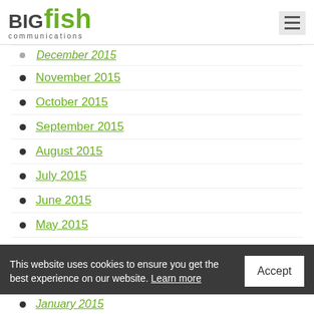[Figure (logo): BIG fish communications logo with BIG in dark gray, fish in green, and 'communications' in spaced letters below]
December 2015
November 2015
October 2015
September 2015
August 2015
July 2015
June 2015
May 2015
January 2015
This website uses cookies to ensure you get the best experience on our website. Learn more